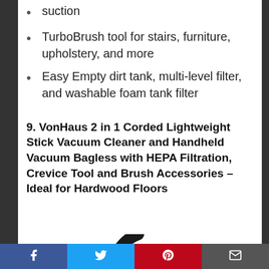suction
TurboBrush tool for stairs, furniture, upholstery, and more
Easy Empty dirt tank, multi-level filter, and washable foam tank filter
9. VonHaus 2 in 1 Corded Lightweight Stick Vacuum Cleaner and Handheld Vacuum Bagless with HEPA Filtration, Crevice Tool and Brush Accessories – Ideal for Hardwood Floors
[Figure (photo): Partial image of a VonHaus vacuum cleaner, showing the lower portion/handle of the device in black]
Social share buttons: Facebook, Twitter, Pinterest, Email